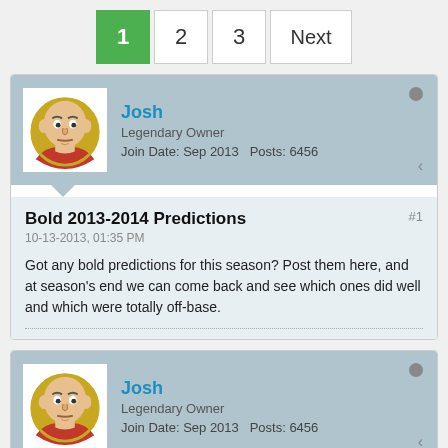1  2  3  Next
Josh
Legendary Owner
Join Date: Sep 2013  Posts: 6456
Bold 2013-2014 Predictions
10-13-2013, 01:35 PM
Got any bold predictions for this season? Post them here, and at season's end we can come back and see which ones did well and which were totally off-base.
Josh
Legendary Owner
Join Date: Sep 2013  Posts: 6456
10-13-2013, 01:43 PM
#2